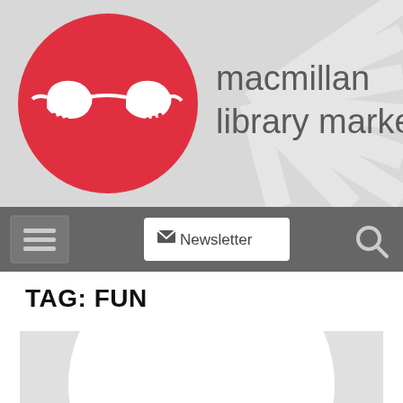[Figure (logo): Macmillan Library Marketing logo: red circle with white cat-eye glasses, text 'macmillan library marketing' in grey, rays background]
[Figure (screenshot): Navigation bar with hamburger menu, Newsletter button with envelope icon, and search icon]
TAG: FUN
[Figure (illustration): Light grey background with white circle containing red cat-eye glasses logo, partially cropped at bottom]